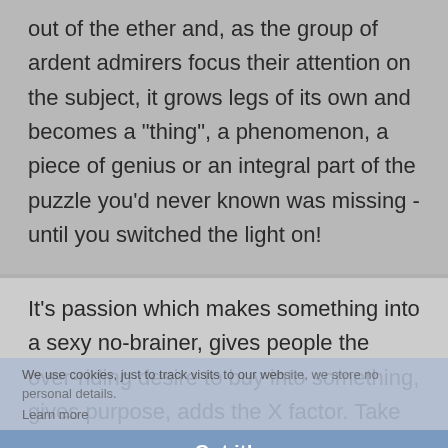out of the ether and, as the group of ardent admirers focus their attention on the subject, it grows legs of its own and becomes a "thing", a phenomenon, a piece of genius or an integral part of the puzzle you'd never known was missing - until you switched the light on!
It's passion which makes something into a sexy no-brainer, gives people the over-riding desire to buy into something, gives purpose, adds the X factor. Take passion out of the proceedings (or be careless enough to leave it behind as other nonsense takes
We use cookies, just to track visits to our website, we store no personal details. Learn more
Got it!